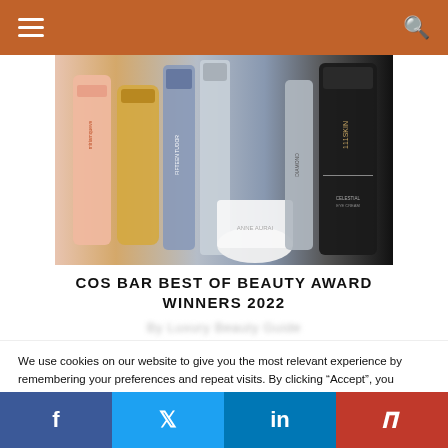Navigation bar with menu and search icons
[Figure (photo): Photo of various beauty and skincare product bottles including Miriam Quevedo shampoo, Olehenriksen, diamond serum, and 111Skin products lined up together]
COS BAR BEST OF BEAUTY AWARD WINNERS 2022
By Luxury Beauty Guide
We use cookies on our website to give you the most relevant experience by remembering your preferences and repeat visits. By clicking “Accept”, you consent to the use of ALL the cookies.
Do not sell my personal information.
f  Twitter  in  Pinterest social share bar